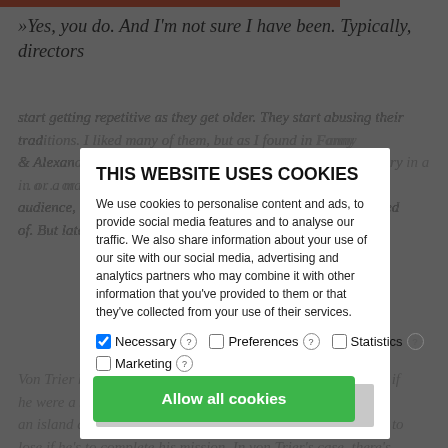»Yes, you do. And I'm not sure I have been. Typically, directors start getting repetitive as they get older. They start abusing their traditions. I liked many of them, but as I found in Fanny & Alexander: was to throw his highlights together to tell a story in a … or a mass audience, and it was something he ought to have been ashamed of. But later, he made Saraband, which was really good.«
THIS WEBSITE USES COOKIES
We use cookies to personalise content and ads, to provide social media features and to analyse our traffic. We also share information about your use of our site with our social media, advertising and analytics partners who may combine it with other information that you've provided to them or that they've collected from your use of their services.
Necessary [checked] ? Preferences ? Statistics ?
Marketing ?
Allow selection
Von Trier has repeatedly described his career as a director as if he were a scout, a soldier … down to the centre of an island and has to find his way to the coast. There's no time to lose if he's to complete his mission. In von Trier's case, there's no time to watch other directors' latest films. Just to make his
Allow all cookies